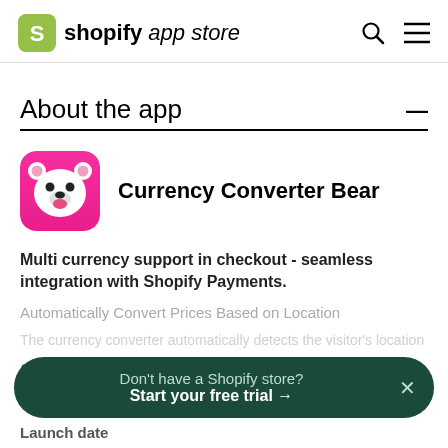shopify app store
About the app
[Figure (logo): Currency Converter Bear app icon — pink/magenta rounded square with a white polar bear face]
Currency Converter Bear
Multi currency support in checkout - seamless integration with Shopify Payments.
Automatically Convert Prices Based on Location
Show full description
Don't have a Shopify store? Start your free trial →
Launch date